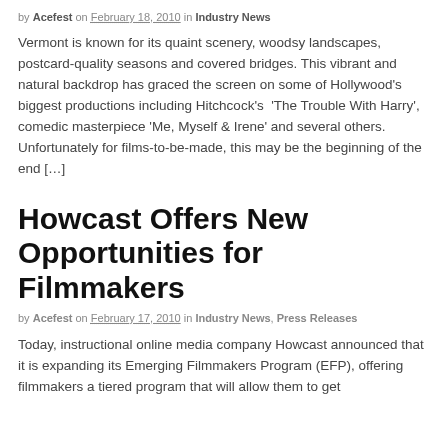by Acefest on February 18, 2010 in Industry News
Vermont is known for its quaint scenery, woodsy landscapes, postcard-quality seasons and covered bridges. This vibrant and natural backdrop has graced the screen on some of Hollywood's biggest productions including Hitchcock's 'The Trouble With Harry', comedic masterpiece 'Me, Myself & Irene' and several others. Unfortunately for films-to-be-made, this may be the beginning of the end [...]
Howcast Offers New Opportunities for Filmmakers
by Acefest on February 17, 2010 in Industry News, Press Releases
Today, instructional online media company Howcast announced that it is expanding its Emerging Filmmakers Program (EFP), offering filmmakers a tiered program that will allow them to get